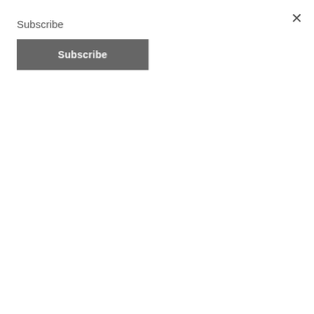Subscribe
Subscribe (button)
ride to church. I read my Bible with my door shut, hiding it after finishing to avoid teasing from my siblings (some of whom are now Christians!). But as closely as I guarded my spiritual life, there is one truth which I did not know or comprehend. I did not understand the iron-clad link between my spiritual life and my emotional life. I did not understand the need for purity emotionally in order to protect my walk with God. Continue reading
OCTOBER 1, 2015 / 3 COMMENTS
FOR THE UNMARRIED